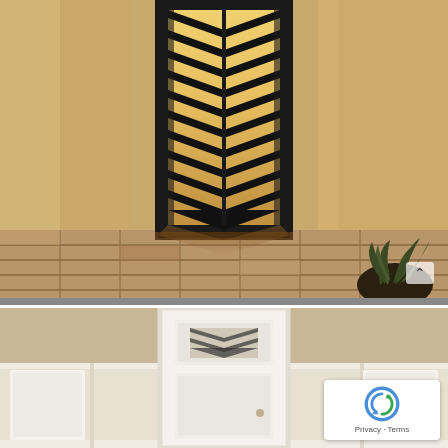[Figure (photo): Exterior entrance with a decorative black metal security door featuring a bold chevron/zigzag geometric pattern. Warm beige/tan stucco walls flank the doorway. Terracotta and light tile flooring in the foreground. A doormat at the base of the door. Sunlight casts chevron shadows on the floor. A potted plant with dark bowl visible at right edge.]
[Figure (photo): Interior view of a room with white wainscoting and a white door with a small decorative window insert featuring a geometric/chevron pattern. Warm neutral wall color above wainscoting. Partially visible scene.]